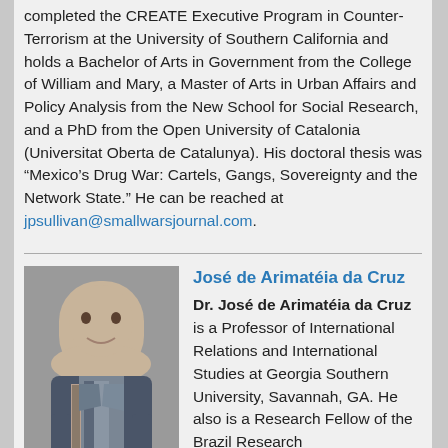completed the CREATE Executive Program in Counter-Terrorism at the University of Southern California and holds a Bachelor of Arts in Government from the College of William and Mary, a Master of Arts in Urban Affairs and Policy Analysis from the New School for Social Research, and a PhD from the Open University of Catalonia (Universitat Oberta de Catalunya). His doctoral thesis was “Mexico’s Drug War: Cartels, Gangs, Sovereignty and the Network State.” He can be reached at jpsullivan@smallwarsjournal.com.
[Figure (photo): Professional headshot photo of José de Arimatéia da Cruz, a man in a suit and tie]
José de Arimatéia da Cruz
Dr. José de Arimatéia da Cruz is a Professor of International Relations and International Studies at Georgia Southern University, Savannah, GA. He also is a Research Fellow of the Brazil Research Unit at the Council on Hemispheric Affairs in